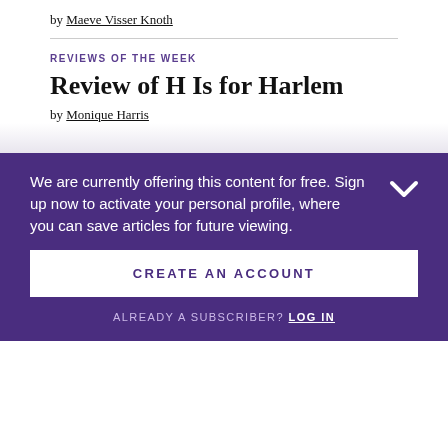by Maeve Visser Knoth
REVIEWS OF THE WEEK
Review of H Is for Harlem
by Monique Harris
We are currently offering this content for free. Sign up now to activate your personal profile, where you can save articles for future viewing.
CREATE AN ACCOUNT
ALREADY A SUBSCRIBER? LOG IN